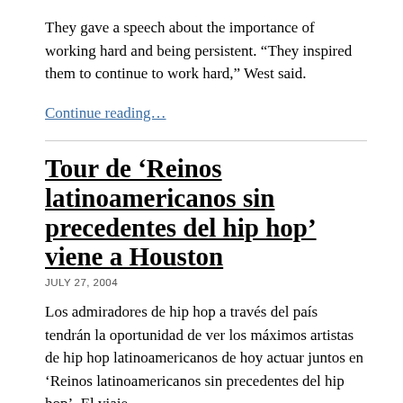They gave a speech about the importance of working hard and being persistent. “They inspired them to continue to work hard,” West said.
Continue reading…
Tour de ‘Reinos latinoamericanos sin precedentes del hip hop’ viene a Houston
JULY 27, 2004
Los admiradores de hip hop a través del país tendrán la oportunidad de ver los máximos artistas de hip hop latinoamericanos de hoy actuar juntos en ‘Reinos latinoamericanos sin precedentes del hip hop’. El viaje